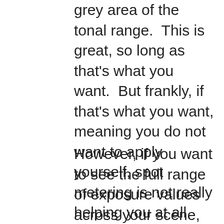grey area of the tonal range.  This is great, so long as that's what you want.  But frankly, if that's what you want, meaning you do not want to apply yourself, spot metering is not really helping you at all.  Stay in matrix/evaluative, whatever your manufacturer calls the default.  You'll save time and have a higher probability of success.
However, if you want to see the full range of exposure values across your scene, and are prepared to take readings off all the areas that matter and then decide which tone you want to fall where in the tonal map, spot metering will make a huge difference in your photography.  You will be more inclined to get what you wanted out of the camera, and be